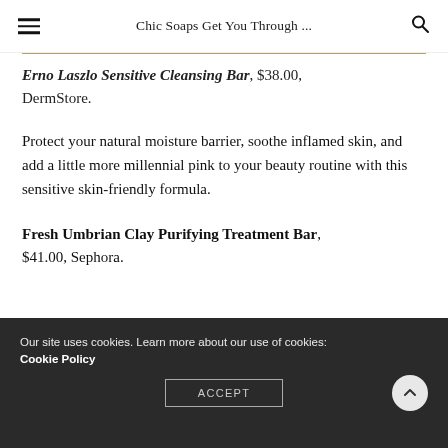Chic Soaps Get You Through ...
Erno Laszlo Sensitive Cleansing Bar, $38.00, DermStore.
Protect your natural moisture barrier, soothe inflamed skin, and add a little more millennial pink to your beauty routine with this sensitive skin-friendly formula.
Fresh Umbrian Clay Purifying Treatment Bar, $41.00, Sephora.
Our site uses cookies. Learn more about our use of cookies: Cookie Policy